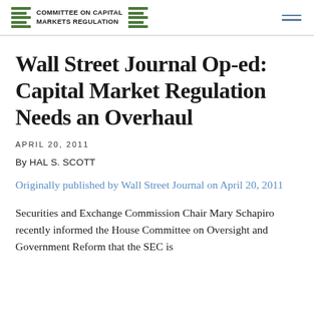COMMITTEE ON CAPITAL MARKETS REGULATION
Wall Street Journal Op-ed: Capital Market Regulation Needs an Overhaul
APRIL 20, 2011
By HAL S. SCOTT
Originally published by Wall Street Journal on April 20, 2011
Securities and Exchange Commission Chair Mary Schapiro recently informed the House Committee on Oversight and Government Reform that the SEC is